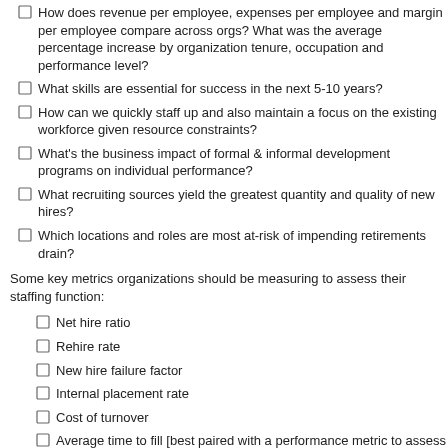How does revenue per employee, expenses per employee and margin per employee compare across orgs? What was the average percentage increase by organization tenure, occupation and performance level?
What skills are essential for success in the next 5-10 years?
How can we quickly staff up and also maintain a focus on the existing workforce given resource constraints?
What's the business impact of formal & informal development programs on individual performance?
What recruiting sources yield the greatest quantity and quality of new hires?
Which locations and roles are most at-risk of impending retirements drain?
Some key metrics organizations should be measuring to assess their staffing function:
Net hire ratio
Rehire rate
New hire failure factor
Internal placement rate
Cost of turnover
Average time to fill [best paired with a performance metric to assess quality of hire]
Voluntary termination rate [ideally assessed by department/location/supervisor]
Staffing rate-contingent Labor [ideally assessed by department/location/supervisor]